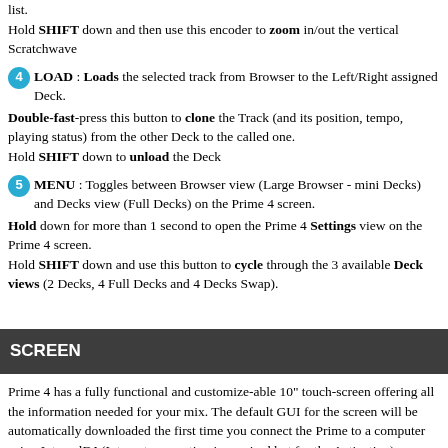list.
Hold SHIFT down and then use this encoder to zoom in/out the vertical Scratchwave
4 LOAD : Loads the selected track from Browser to the Left/Right assigned Deck.
Double-fast-press this button to clone the Track (and its position, tempo, playing status) from the other Deck to the called one.
Hold SHIFT down to unload the Deck
5 MENU : Toggles between Browser view (Large Browser - mini Decks) and Decks view (Full Decks) on the Prime 4 screen.
Hold down for more than 1 second to open the Prime 4 Settings view on the Prime 4 screen.
Hold SHIFT down and use this button to cycle through the 3 available Deck views (2 Decks, 4 Full Decks and 4 Decks Swap).
SCREEN
Prime 4 has a fully functional and customize-able 10" touch-screen offering all the information needed for your mix. The default GUI for the screen will be automatically downloaded the first time you connect the Prime to a computer using InternalDJ (Internet connection is required but for the Activating).